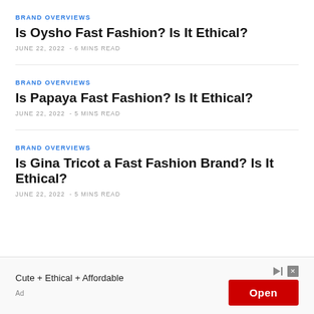BRAND OVERVIEWS
Is Oysho Fast Fashion? Is It Ethical?
JUNE 22, 2022  - 6 MINS READ
BRAND OVERVIEWS
Is Papaya Fast Fashion? Is It Ethical?
JUNE 22, 2022  - 5 MINS READ
BRAND OVERVIEWS
Is Gina Tricot a Fast Fashion Brand? Is It Ethical?
JUNE 22, 2022  - 5 MINS READ
[Figure (other): Advertisement banner: Cute + Ethical + Affordable with Open button]